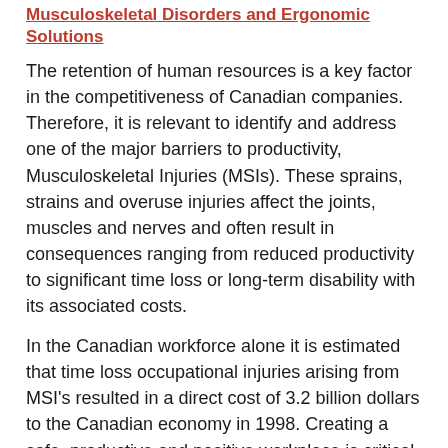Musculoskeletal Disorders and Ergonomic Solutions
The retention of human resources is a key factor in the competitiveness of Canadian companies. Therefore, it is relevant to identify and address one of the major barriers to productivity, Musculoskeletal Injuries (MSIs). These sprains, strains and overuse injuries affect the joints, muscles and nerves and often result in consequences ranging from reduced productivity to significant time loss or long-term disability with its associated costs.
In the Canadian workforce alone it is estimated that time loss occupational injuries arising from MSI's resulted in a direct cost of 3.2 billion dollars to the Canadian economy in 1998.  Creating a safe, productive and positive workplace is critical to the success of all stakeholders in any given industry. Ergonomics seek to eliminate risk factors that lead to musculoskeletal disorders and other types of injury. Ergonomics training can empower companies and individual workers to identify potential